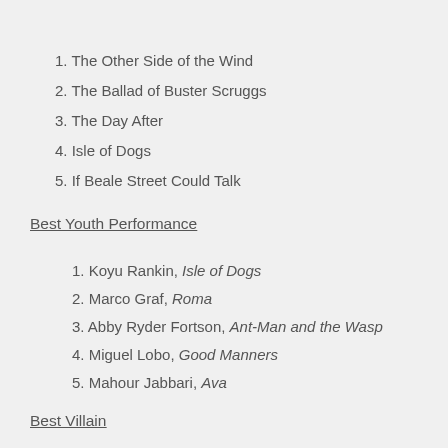1. The Other Side of the Wind
2. The Ballad of Buster Scruggs
3. The Day After
4. Isle of Dogs
5. If Beale Street Could Talk
Best Youth Performance
1. Koyu Rankin, Isle of Dogs
2. Marco Graf, Roma
3. Abby Ryder Fortson, Ant-Man and the Wasp
4. Miguel Lobo, Good Manners
5. Mahour Jabbari, Ava
Best Villain
1. August Walker, Mission: Impossible – Fallout
2. Ben, Burning